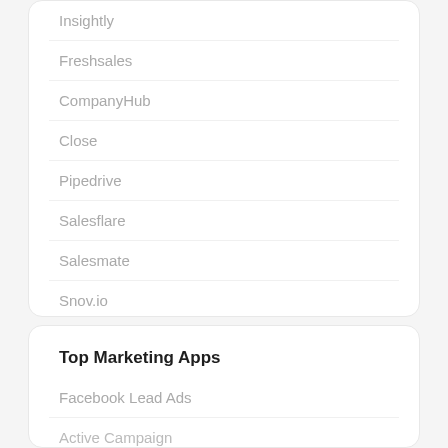Insightly
Freshsales
CompanyHub
Close
Pipedrive
Salesflare
Salesmate
Snov.io
Dubb
Customerly
Show More
Top Marketing Apps
Facebook Lead Ads
Active Campaign